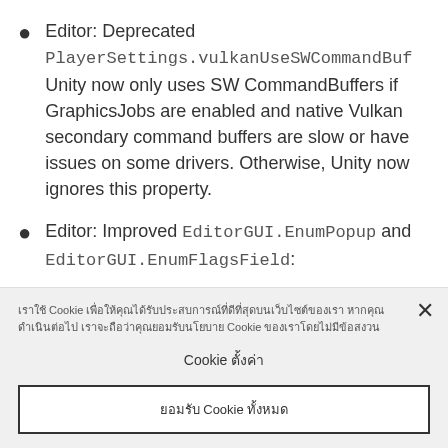Editor: Deprecated PlayerSettings.vulkanUseSWCommandBuf Unity now only uses SW CommandBuffers if GraphicsJobs are enabled and native Vulkan secondary command buffers are slow or have issues on some drivers. Otherwise, Unity now ignores this property.
Editor: Improved EditorGUI.EnumPopup and EditorGUI.EnumFlagsField:
Cookie banner overlay with Thai text about cookie usage policy, with close button, Cookie settings button, and accept all cookies button.